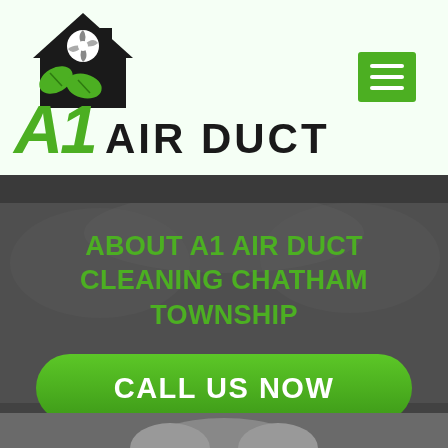[Figure (logo): A1 Air Duct company logo with house icon featuring a fan/snowflake and green leaves, with green italic A1 text and bold AIR DUCT text]
[Figure (other): Green hamburger menu button (three horizontal lines) in top right corner]
ABOUT A1 AIR DUCT CLEANING CHATHAM TOWNSHIP
CALL US NOW